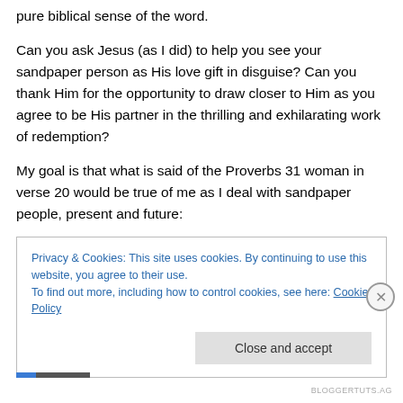pure biblical sense of the word.
Can you ask Jesus (as I did) to help you see your sandpaper person as His love gift in disguise? Can you thank Him for the opportunity to draw closer to Him as you agree to be His partner in the thrilling and exhilarating work of redemption?
My goal is that what is said of the Proverbs 31 woman in verse 20 would be true of me as I deal with sandpaper people, present and future:
Privacy & Cookies: This site uses cookies. By continuing to use this website, you agree to their use.
To find out more, including how to control cookies, see here: Cookie Policy
BLOGGERTUTS.AG